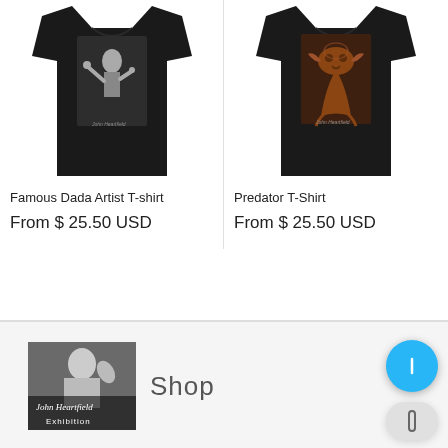[Figure (photo): Black t-shirt with Famous Dada Artist print showing a man conducting or speaking]
Famous Dada Artist T-shirt
From $ 25.50 USD
[Figure (photo): Black t-shirt with Predator print showing a bird/creature design in brown tones]
Predator T-Shirt
From $ 25.50 USD
[Figure (logo): John Heartfield Exhibition logo with photo of man and cursive text 'John Heartfield Exhibition']
Shop